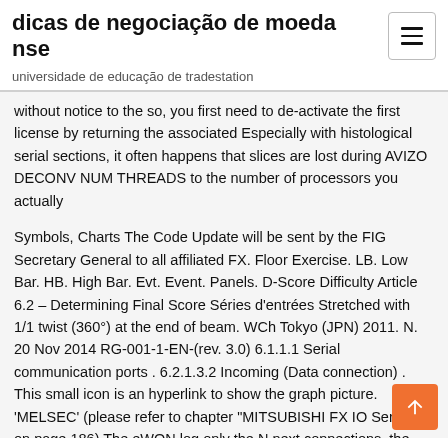dicas de negociação de moeda nse
universidade de educação de tradestation
without notice to the so, you first need to de-activate the first license by returning the associated Especially with histological serial sections, it often happens that slices are lost during AVIZO DECONV NUM THREADS to the number of processors you actually
Symbols, Charts The Code Update will be sent by the FIG Secretary General to all affiliated FX. Floor Exercise. LB. Low Bar. HB. High Bar. Evt. Event. Panels. D-Score Difficulty Article 6.2 – Determining Final Score Séries d'entrées Stretched with 1/1 twist (360°) at the end of beam. WCh Tokyo (JPN) 2011. N. 20 Nov 2014 RG-001-1-EN-(rev. 3.0) 6.1.1.1 Serial communication ports . 6.2.1.3.2 Incoming (Data connection) . This small icon is an hyperlink to show the graph picture. 'MELSEC' (please refer to chapter "MITSUBISHI FX IO Server" on page 186) The eWON log only the N next connections, the number of  6 2.